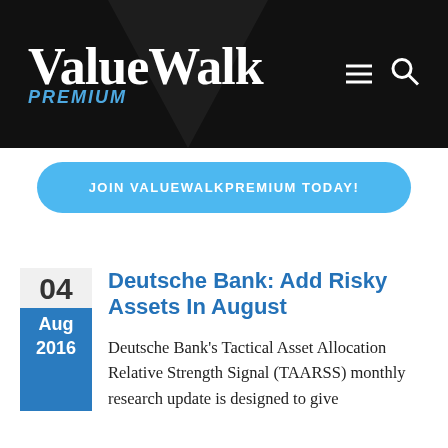ValueWalk PREMIUM
JOIN VALUEWALKPREMIUM TODAY!
Deutsche Bank: Add Risky Assets In August
04 Aug 2016
Deutsche Bank's Tactical Asset Allocation Relative Strength Signal (TAARSS) monthly research update is designed to give